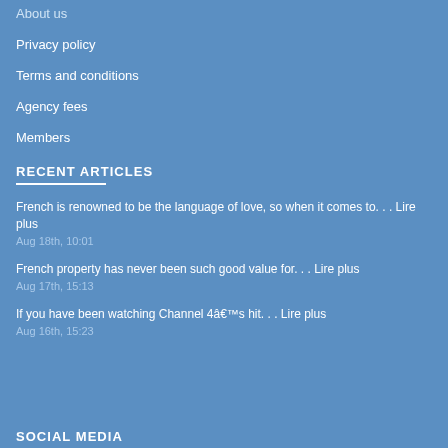About us
Privacy policy
Terms and conditions
Agency fees
Members
RECENT ARTICLES
French is renowned to be the language of love, so when it comes to. . . Lire plus
Aug 18th, 10:01
French property has never been such good value for. . . Lire plus
Aug 17th, 15:13
If you have been watching Channel 4â€™s hit. . . Lire plus
Aug 16th, 15:23
SOCIAL MEDIA